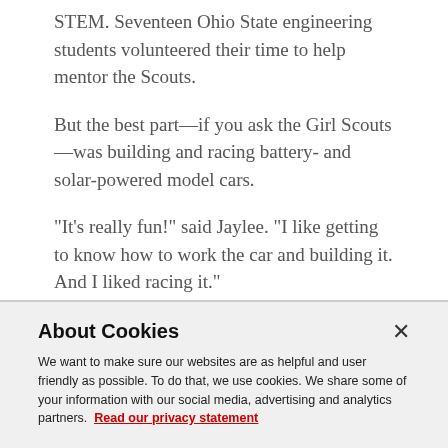STEM. Seventeen Ohio State engineering students volunteered their time to help mentor the Scouts.
But the best part—if you ask the Girl Scouts—was building and racing battery- and solar-powered model cars.
“It’s really fun!” said Jaylee. “I like getting to know how to work the car and building it. And I liked racing it.”
The Scouts’ enthusiasm is one of Doan-Nguyen’s favorite aspects of working with children.
About Cookies
We want to make sure our websites are as helpful and user friendly as possible. To do that, we use cookies. We share some of your information with our social media, advertising and analytics partners. Read our privacy statement